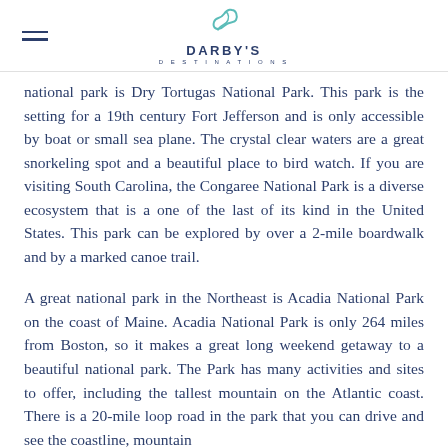DARBY'S DESTINATIONS
national park is Dry Tortugas National Park. This park is the setting for a 19th century Fort Jefferson and is only accessible by boat or small sea plane. The crystal clear waters are a great snorkeling spot and a beautiful place to bird watch. If you are visiting South Carolina, the Congaree National Park is a diverse ecosystem that is a one of the last of its kind in the United States. This park can be explored by over a 2-mile boardwalk and by a marked canoe trail.
A great national park in the Northeast is Acadia National Park on the coast of Maine. Acadia National Park is only 264 miles from Boston, so it makes a great long weekend getaway to a beautiful national park. The Park has many activities and sites to offer, including the tallest mountain on the Atlantic coast. There is a 20-mile loop road in the park that you can drive and see the coastline, mountain and more below from. There are so many other things of